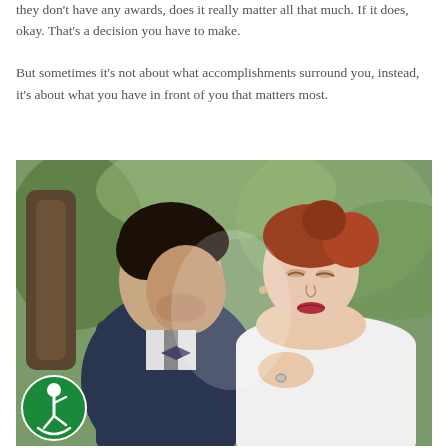they don't have any awards, does it really matter all that much. If it does, okay. That's a decision you have to make.
But sometimes it's not about what accomplishments surround you, instead, it's about what you have in front of you that matters most.
[Figure (photo): A couple in an outdoor setting. A man in a dark suit leans toward a woman with red hair in an updo wearing a white dress. She has her hand on her chest. Green foliage visible in background.]